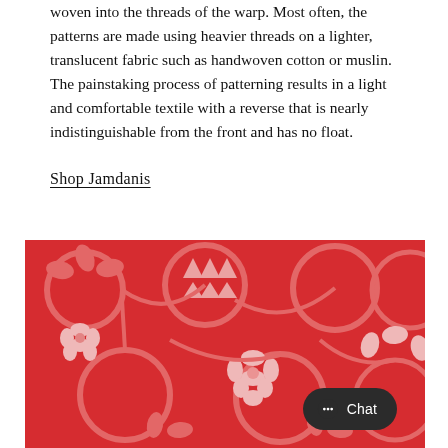woven into the threads of the warp. Most often, the patterns are made using heavier threads on a lighter, translucent fabric such as handwoven cotton or muslin. The painstaking process of patterning results in a light and comfortable textile with a reverse that is nearly indistinguishable from the front and has no float.
Shop Jamdanis
[Figure (photo): Close-up photograph of red Jamdani fabric with intricate white woven floral and geometric patterns on a vivid red background.]